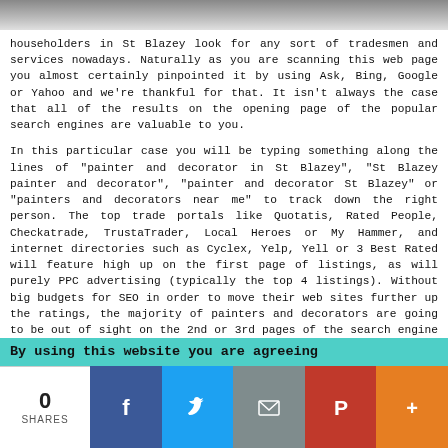[Figure (photo): Partial image of a dark surface visible at top of page]
householders in St Blazey look for any sort of tradesmen and services nowadays. Naturally as you are scanning this web page you almost certainly pinpointed it by using Ask, Bing, Google or Yahoo and we're thankful for that. It isn't always the case that all of the results on the opening page of the popular search engines are valuable to you.
In this particular case you will be typing something along the lines of "painter and decorator in St Blazey", "St Blazey painter and decorator", "painter and decorator St Blazey" or "painters and decorators near me" to track down the right person. The top trade portals like Quotatis, Rated People, Checkatrade, TrustaTrader, Local Heroes or My Hammer, and internet directories such as Cyclex, Yelp, Yell or 3 Best Rated will feature high up on the first page of listings, as will purely PPC advertising (typically the top 4 listings). Without big budgets for SEO in order to move their web sites further up the ratings, the majority of painters and decorators are going to be out of sight on the 2nd or 3rd pages of the search engine results.
St Blazey Painter and Decorator Questions
By using this website you are agreeing
[Figure (infographic): Social sharing bar with share count 0, SHARES label, and buttons for Facebook, Twitter, Email, Pinterest, and More]